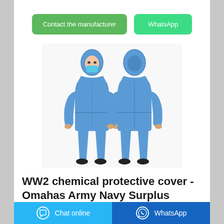[Figure (other): Two buttons side by side: a green 'Contact the manufacturer' button and a teal/green 'WhatsApp' button]
[Figure (photo): Product photo showing two views (front and back) of a person wearing a blue full-body chemical protective coverall suit with hood and face mask]
WW2 chemical protective cover - Omahas Army Navy Surplus
[Figure (other): Bottom bar with two buttons: a light blue 'Chat online' button with chat icon on the left, and a dark blue 'WhatsApp' button with WhatsApp icon on the right]